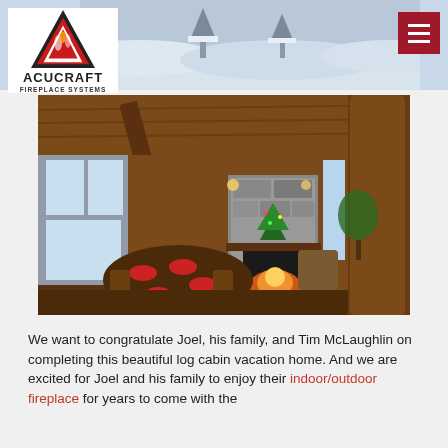[Figure (photo): Acucraft Fireplace Systems logo with flame icon on white background, top left corner]
[Figure (photo): Top banner showing snowy exterior scene in muted blue-gray tones]
[Figure (photo): Interior of a log cabin vacation home with wooden beamed ceiling, stone fireplace with fire burning, dining table with red place settings, large windows showing snow outside, Christmas tree visible]
We want to congratulate Joel, his family, and Tim McLaughlin on completing this beautiful log cabin vacation home. And we are excited for Joel and his family to enjoy their indoor/outdoor fireplace for years to come with the